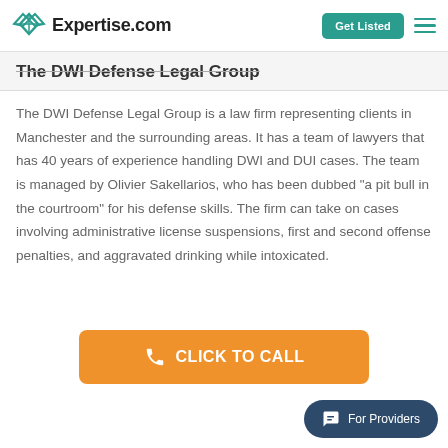Expertise.com | Get Listed
The DWI Defense Legal Group
The DWI Defense Legal Group is a law firm representing clients in Manchester and the surrounding areas. It has a team of lawyers that has 40 years of experience handling DWI and DUI cases. The team is managed by Olivier Sakellarios, who has been dubbed "a pit bull in the courtroom" for his defense skills. The firm can take on cases involving administrative license suspensions, first and second offense penalties, and aggravated drinking while intoxicated.
[Figure (other): Orange CLICK TO CALL button with phone icon]
[Figure (other): For Providers chat bubble button in dark blue]